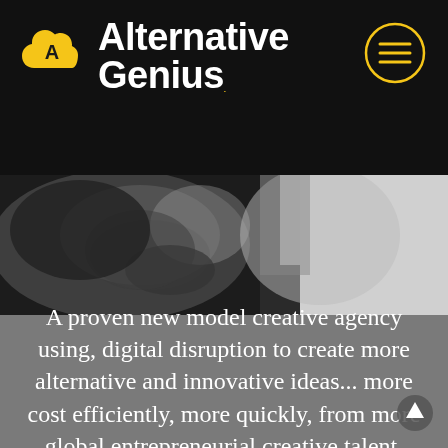Alternative Genius
[Figure (photo): Close-up black and white photograph of a person's nose and cheek area, grayscale]
A proven new model creative agency using, digital disruption to create more alternative and innovative ideas... more cost efficiently, more quickly, from more global entrepreneurial creative talent.